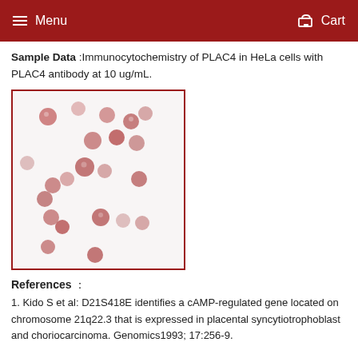Menu   Cart
Sample Data :Immunocytochemistry of PLAC4 in HeLa cells with PLAC4 antibody at 10 ug/mL.
[Figure (photo): Immunocytochemistry microscopy image showing PLAC4 staining in HeLa cells. Cells appear as round structures with reddish-pink staining, scattered across a white background, showing variable staining intensity.]
References :
1. Kido S et al: D21S418E identifies a cAMP-regulated gene located on chromosome 21q22.3 that is expressed in placental syncytiotrophoblast and choriocarcinoma. Genomics1993; 17:256-9.